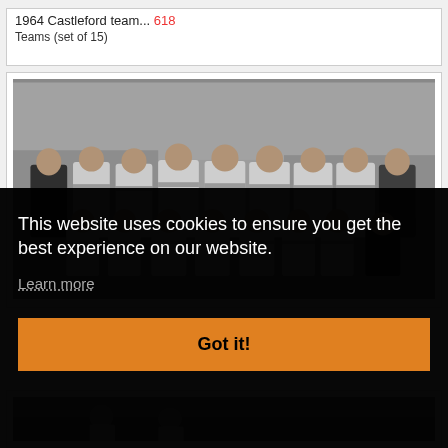1964 Castleford team... 618
Teams (set of 15)
[Figure (photo): Black and white photograph of the 1964 Castleford rugby league team, showing two rows of players in white jerseys with striped trim, plus officials in suits on either side.]
This website uses cookies to ensure you get the best experience on our website.
Learn more
Got it!
[Figure (photo): Partial view of another team photograph at the bottom of the page.]